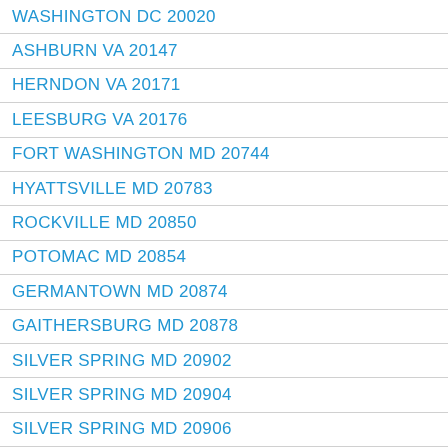WASHINGTON DC 20020
ASHBURN VA 20147
HERNDON VA 20171
LEESBURG VA 20176
FORT WASHINGTON MD 20744
HYATTSVILLE MD 20783
ROCKVILLE MD 20850
POTOMAC MD 20854
GERMANTOWN MD 20874
GAITHERSBURG MD 20878
SILVER SPRING MD 20902
SILVER SPRING MD 20904
SILVER SPRING MD 20906